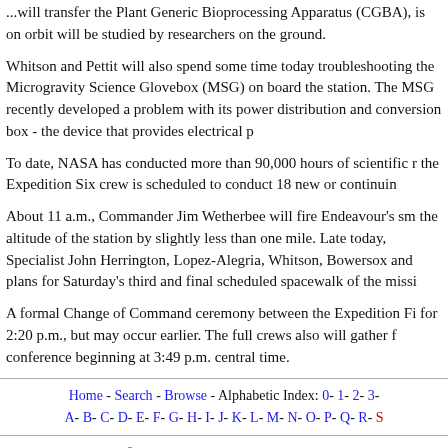...will transfer the Plant Generic Bioprocessing Apparatus (CGBA), which is on orbit will be studied by researchers on the ground.
Whitson and Pettit will also spend some time today troubleshooting the Microgravity Science Glovebox (MSG) on board the station. The MSG recently developed a problem with its power distribution and conversion box - the device that provides electrical power...
To date, NASA has conducted more than 90,000 hours of scientific research on the ISS, and the Expedition Six crew is scheduled to conduct 18 new or continuing experiments...
About 11 a.m., Commander Jim Wetherbee will fire Endeavour's small thrusters to raise the altitude of the station by slightly less than one mile. Late today, Mission Specialist John Herrington, Lopez-Alegria, Whitson, Bowersox and Pettit will review plans for Saturday's third and final scheduled spacewalk of the mission...
A formal Change of Command ceremony between the Expedition Five and Six crews is set for 2:20 p.m., but may occur earlier. The full crews also will gather for a joint press conference beginning at 3:49 p.m. central time.
Home - Search - Browse - Alphabetic Index: 0- 1- 2- 3 A- B- C- D- E- F- G- H- I- J- K- L- M- N- O- P- Q- R- S- © 1997-2017 Mark Wade - Contact © / Conditions for Use